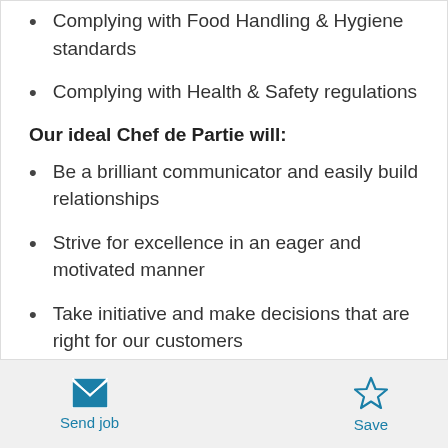Complying with Food Handling & Hygiene standards
Complying with Health & Safety regulations
Our ideal Chef de Partie will:
Be a brilliant communicator and easily build relationships
Strive for excellence in an eager and motivated manner
Take initiative and make decisions that are right for our customers
Send job  Save